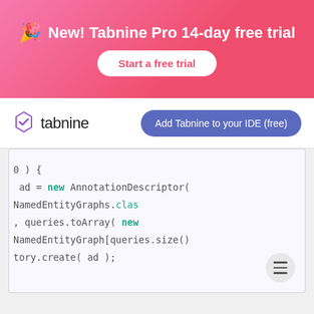[Figure (screenshot): Pink gradient banner with party emoji, text 'New! Tabnine Pro 14-day free trial', and a white 'Start a free trial' button]
[Figure (logo): Tabnine logo with purple hexagon-like icon and 'tabnine' wordmark, with a blue-purple 'Add Tabnine to your IDE (free)' button]
[Figure (screenshot): Code editor panel showing Java/Kotlin code with AnnotationDescriptor, NamedEntityGraphs, queries.toArray, and NamedEntityGraph references]